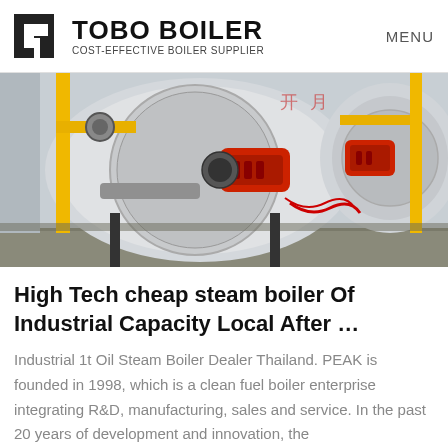TOBO BOILER – COST-EFFECTIVE BOILER SUPPLIER | MENU
[Figure (photo): Industrial boilers in a factory setting, featuring large cylindrical boilers with yellow gas pipes, red burner heads, and mechanical fittings.]
High Tech cheap steam boiler Of Industrial Capacity Local After …
Industrial 1t Oil Steam Boiler Dealer Thailand. PEAK is founded in 1998, which is a clean fuel boiler enterprise integrating R&D, manufacturing, sales and service. In the past 20 years of development and innovation, the